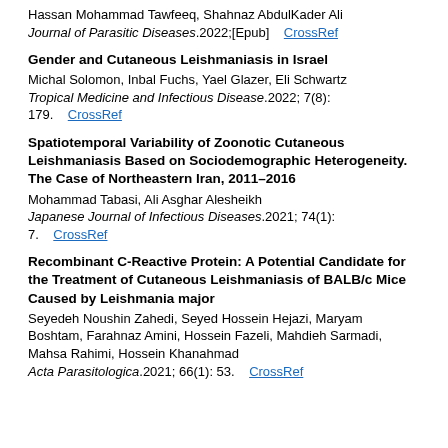Hassan Mohammad Tawfeeq, Shahnaz AbdulKader Ali
Journal of Parasitic Diseases.2022;[Epub]    CrossRef
Gender and Cutaneous Leishmaniasis in Israel
Michal Solomon, Inbal Fuchs, Yael Glazer, Eli Schwartz
Tropical Medicine and Infectious Disease.2022; 7(8): 179.    CrossRef
Spatiotemporal Variability of Zoonotic Cutaneous Leishmaniasis Based on Sociodemographic Heterogeneity. The Case of Northeastern Iran, 2011–2016
Mohammad Tabasi, Ali Asghar Alesheikh
Japanese Journal of Infectious Diseases.2021; 74(1): 7.    CrossRef
Recombinant C-Reactive Protein: A Potential Candidate for the Treatment of Cutaneous Leishmaniasis of BALB/c Mice Caused by Leishmania major
Seyedeh Noushin Zahedi, Seyed Hossein Hejazi, Maryam Boshtam, Farahnaz Amini, Hossein Fazeli, Mahdieh Sarmadi, Mahsa Rahimi, Hossein Khanahmad
Acta Parasitologica.2021; 66(1): 53.    CrossRef